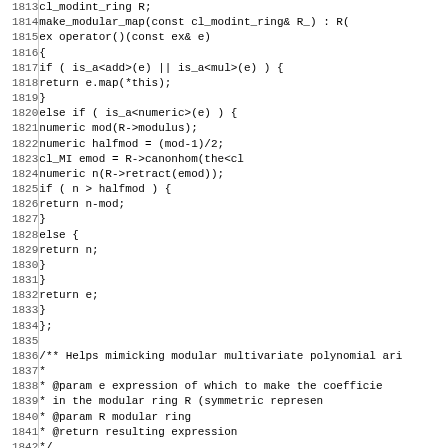[Figure (screenshot): Source code listing in monospace font showing C++ code lines 1813-1844, including class methods and a Javadoc comment block.]